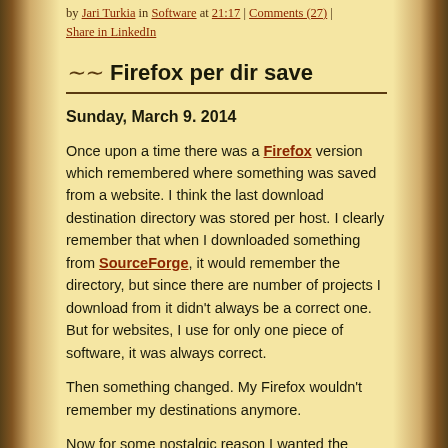by Jari Turkia in Software at 21:17 | Comments (27) | Share in LinkedIn
Firefox per dir save
Sunday, March 9. 2014
Once upon a time there was a Firefox version which remembered where something was saved from a website. I think the last download destination directory was stored per host. I clearly remember that when I downloaded something from SourceForge, it would remember the directory, but since there are number of projects I download from it didn't always be a correct one. But for websites, I use for only one piece of software, it was always correct.
Then something changed. My Firefox wouldn't remember my destinations anymore.
Now for some nostalgic reason I wanted the functionality back. My loyal/hated aide Google found me a solution for that. A